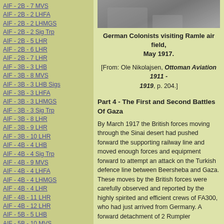AIF - 2B - 7 MVS
AIF - 2B - 2 LHFA
AIF - 2B - 2 LHMGS
AIF - 2B - 2 Sig Trp
AIF - 2B - 5 LHR
AIF - 2B - 6 LHR
AIF - 2B - 7 LHR
AIF - 3B - 3 LHB
AIF - 3B - 8 MVS
AIF - 3B - 3 LHB Sigs
AIF - 3B - 3 LHFA
AIF - 3B - 3 LHMGS
AIF - 3B - 3 Sig Trp
AIF - 3B - 8 LHR
AIF - 3B - 9 LHR
AIF - 3B - 10 LHR
AIF - 4B - 4 LHB
AIF - 4B - 4 Sig Trp
AIF - 4B - 9 MVS
AIF - 4B - 4 LHFA
AIF - 4B - 4 LHMGS
AIF - 4B - 4 LHR
AIF - 4B - 11 LHR
AIF - 4B - 12 LHR
AIF - 5B - 5 LHB
AIF - 5B - 10 MVS
AIF - 5B - 5 LHFA
AIF - 5B - 5 Sig Trp
[Figure (photo): Black and white photograph of German Colonists visiting Ramle air field, May 1917]
German Colonists visiting Ramle air field, May 1917.
[From: Ole Nikolajsen, Ottoman Aviation 1911 - 1919, p. 204.]
Part 4 - The First and Second Battles Of Gaza
By March 1917 the British forces moving through the Sinai desert had pushed forward the supporting railway line and moved enough forces and equipment forward to attempt an attack on the Turkish defence line between Beersheba and Gaza. These moves by the British forces were carefully observed and reported by the highly spirited and efficient crews of FA300, who had just arrived from Germany. A forward detachment of 2 Rumpler